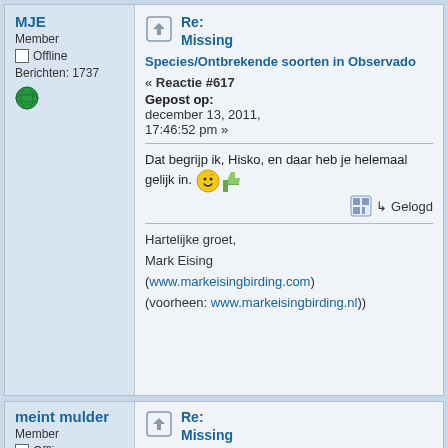MJE
Member
Offline
Berichten: 1737
Re: Missing
Species/Ontbrekende soorten in Observado
« Reactie #617
Gepost op: december 13, 2011, 17:46:52 pm »
Dat begrijp ik, Hisko, en daar heb je helemaal gelijk in.
Gelogd
Hartelijke groet,
Mark Eising
(www.markeisingbirding.com)
(voorheen: www.markeisingbirding.nl))
meint mulder
Member
Offline
Berichten: 706
Re: Missing
Species/Ontbrekende soorten in Observado
« Reactie #618
Gepost op: december 18, 2011